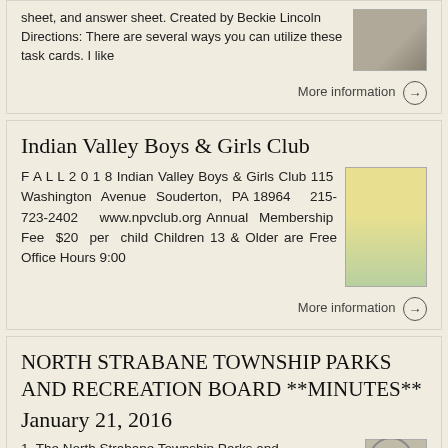sheet, and answer sheet. Created by Beckie Lincoln Directions: There are several ways you can utilize these task cards. I like
More information →
Indian Valley Boys & Girls Club
F A L L 2 0 1 8 Indian Valley Boys & Girls Club 115 Washington Avenue Souderton, PA 18964 215-723-2402 www.npvclub.org Annual Membership Fee $20 per child Children 13 & Older are Free Office Hours 9:00
More information →
NORTH STRABANE TOWNSHIP PARKS AND RECREATION BOARD **MINUTES** January 21, 2016
1 The North Strabane Township Parks and